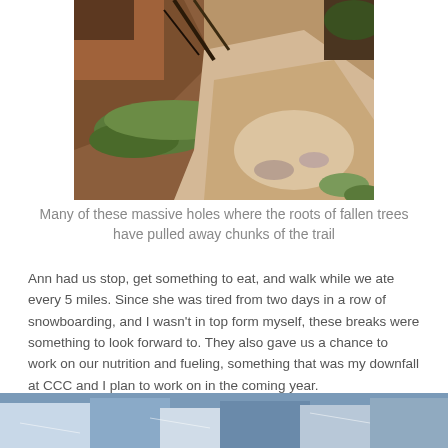[Figure (photo): A trail with massive holes where roots of fallen trees have pulled away large chunks of earth, showing exposed soil, moss-covered logs, and rocky debris.]
Many of these massive holes where the roots of fallen trees have pulled away chunks of the trail
Ann had us stop, get something to eat, and walk while we ate every 5 miles. Since she was tired from two days in a row of snowboarding, and I wasn't in top form myself, these breaks were something to look forward to. They also gave us a chance to work on our nutrition and fueling, something that was my downfall at CCC and I plan to work on in the coming year.
[Figure (photo): Partial view of another trail or outdoor scene, partially cut off at the bottom of the page.]